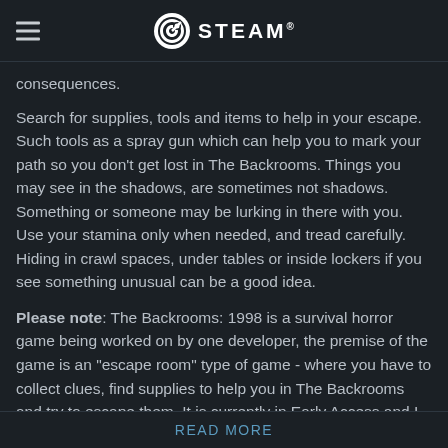STEAM
consequences.
Search for supplies, tools and items to help in your escape. Such tools as a spray gun which can help you to mark your path so you don't get lost in The Backrooms. Things you may see in the shadows, are sometimes not shadows. Something or someone may be lurking in there with you. Use your stamina only when needed, and tread carefully. Hiding in crawl spaces, under tables or inside lockers if you see something unusual can be a good idea.
Please note: The Backrooms: 1998 is a survival horror game being worked on by one developer, the premise of the game is an "escape room" type of game - where you have to collect clues, find supplies to help you in The Backrooms and try to escape them. It is currently in Early Access and I will try my best to update the game frequently to give you the best enjoyable experience. Please do submit your feedback and suggestions to
READ MORE